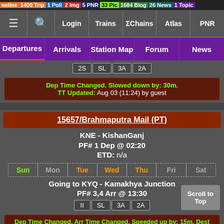neline 1400 Trip | 1 Poll | 2 Img | 5 PNR | 33 Pic | 1684 Blog | 26 News | 1 Topic
≡ | 🔍 | Login | Trains | ΣChains | Atlas | PNR
Departures | Arrivals | Station Map | Forum | News
2S  SL  3A  2A
Dep Time Changed. Slowed down by: 30m. TT Updated: Aug 03 (11:24) by guest
15657/Brahmaputra Mail (PT)
KNE - KishanGanj
PF# 1 Dep @ 02:20
ETD: n/a
Sun | Mon | Tue | Wed | Thu | Fri | Sat
Going to KYQ - Kamakhya Junction
PF# 3,4 Arr @ 13:30
II  SL  3A  2A
Dep Time Changed. Arr Time Changed. Speeded up by: 15m. Dest. TT Updated: Aug 03 (11:24) by guest